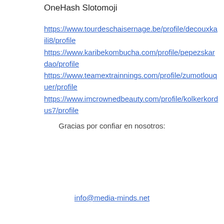OneHash Slotomoji
https://www.tourdeschaisernage.be/profile/decouxkaili8/profile
https://www.karibekombucha.com/profile/pepezskardao/profile
https://www.teamextrainnings.com/profile/zumotlouquer/profile
https://www.imcrownedbeauty.com/profile/kolkerkordus7/profile
Gracias por confiar en nosotros:
info@media-minds.net